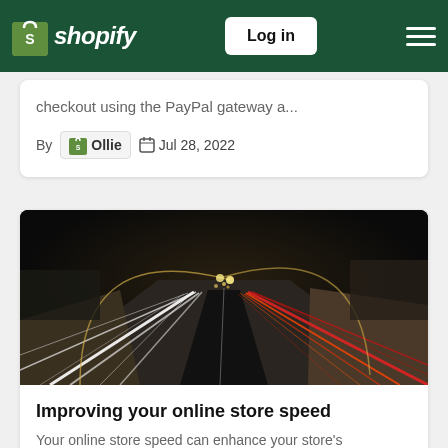Shopify — Log in
checkout using the PayPal gateway a...
By Ollie  Jul 28, 2022
[Figure (photo): Long-exposure night highway photo showing streaks of white and red light trails from vehicles on a multi-lane road, with arc street lights and walls on the sides.]
Improving your online store speed
Your online store speed can enhance your store's discoverability, boost conversion rates a...